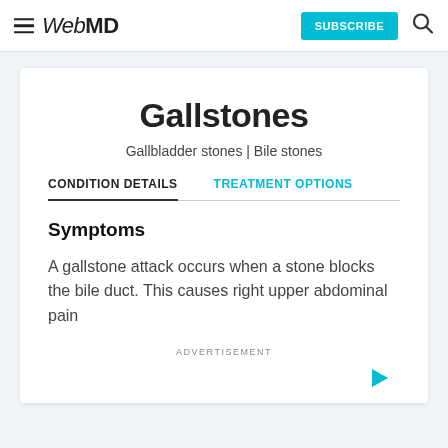WebMD — SUBSCRIBE
Gallstones
Gallbladder stones | Bile stones
CONDITION DETAILS   TREATMENT OPTIONS
Symptoms
A gallstone attack occurs when a stone blocks the bile duct. This causes right upper abdominal pain
ADVERTISEMENT